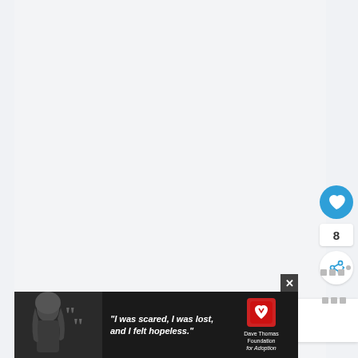[Figure (screenshot): Light gray blank main content area of a web page]
[Figure (illustration): Blue circular like/heart button with white heart icon]
8
[Figure (illustration): White circular share button with share icon]
[Figure (screenshot): What's Next banner showing thumbnail of food dish and text 'WHAT'S NEXT → tomato nuns']
[Figure (screenshot): Advertisement banner with woman photo, quote 'I was scared, I was lost, and I felt hopeless.' and Dave Thomas Foundation for Adoption logo with close button]